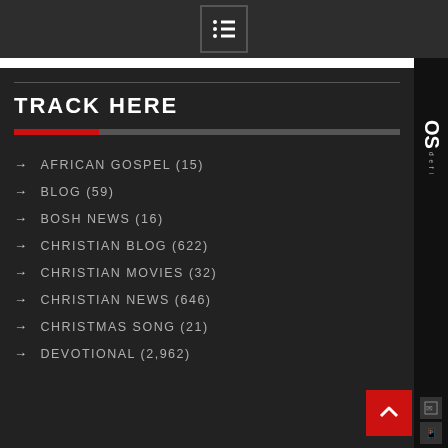Menu icon / navigation bar
TRACK HERE
AFRICAN GOSPEL (15)
BLOG (59)
BOSH NEWS (16)
CHRISTIAN BLOG (622)
CHRISTIAN MOVIES (32)
CHRISTIAN NEWS (646)
CHRISTMAS SONG (21)
DEVOTIONAL (2,962)